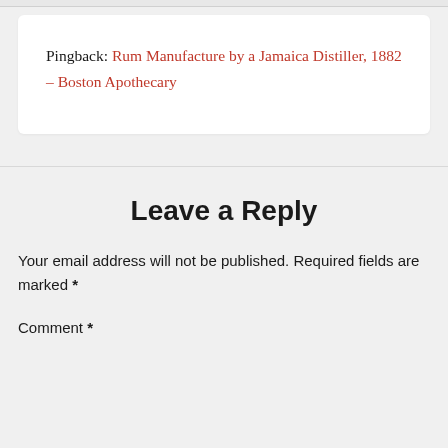Pingback: Rum Manufacture by a Jamaica Distiller, 1882 – Boston Apothecary
Leave a Reply
Your email address will not be published. Required fields are marked *
Comment *